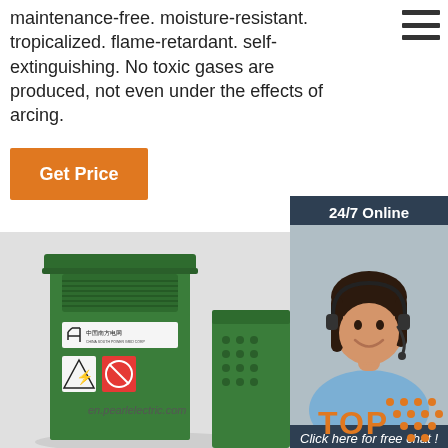maintenance-free. moisture-resistant. tropicalized. flame-retardant. self-extinguishing. No toxic gases are produced, not even under the effects of arcing.
[Figure (other): Orange 'Get Price' button]
[Figure (other): 24/7 Online chat sidebar with woman wearing headset, 'Click here for free chat!' text and orange QUOTATION button]
[Figure (photo): Green outdoor electrical distribution cabinet/box with Chinese Southern Power Grid label and warning signs, watermark en.pearlelectric.com]
[Figure (other): TOP badge with orange dot pattern in bottom right corner]